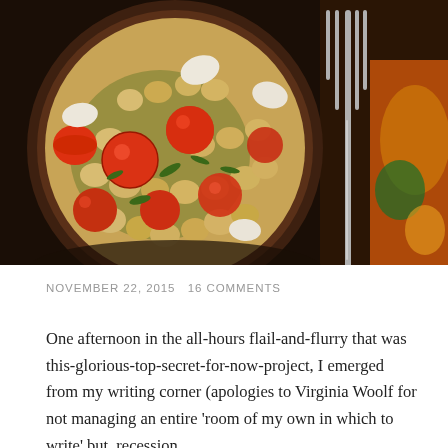[Figure (photo): Overhead close-up photo of a bowl of chickpea and cherry tomato salad with fresh herbs, photographed next to a fork on a colorful fabric background.]
NOVEMBER 22, 2015   16 COMMENTS
One afternoon in the all-hours flail-and-flurry that was this-glorious-top-secret-for-now-project, I emerged from my writing corner (apologies to Virginia Woolf for not managing an entire 'room of my own in which to write' but, recession,